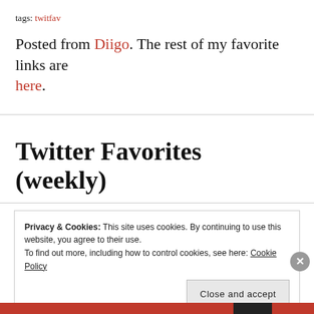tags: twitfav
Posted from Diigo. The rest of my favorite links are here.
Twitter Favorites (weekly)
Privacy & Cookies: This site uses cookies. By continuing to use this website, you agree to their use.
To find out more, including how to control cookies, see here: Cookie Policy
Close and accept